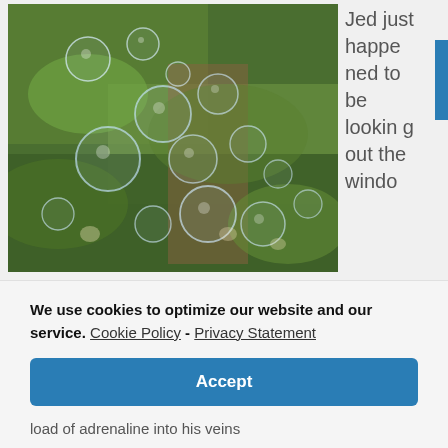[Figure (photo): Photograph of soap bubbles floating in front of green foliage/moss background]
Jed just happened to be looking out the windo
We use cookies to optimize our website and our service.  Cookie Policy - Privacy Statement
Accept
load of adrenaline into his veins